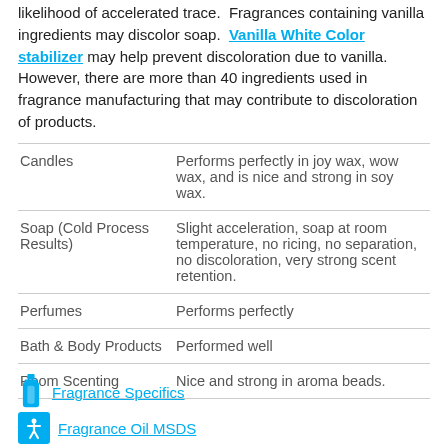likelihood of accelerated trace. Fragrances containing vanilla ingredients may discolor soap. Vanilla White Color stabilizer may help prevent discoloration due to vanilla. However, there are more than 40 ingredients used in fragrance manufacturing that may contribute to discoloration of products.
|  |  |
| --- | --- |
| Candles | Performs perfectly in joy wax, wow wax, and is nice and strong in soy wax. |
| Soap (Cold Process Results) | Slight acceleration, soap at room temperature, no ricing, no separation, no discoloration, very strong scent retention. |
| Perfumes | Performs perfectly |
| Bath & Body Products | Performed well |
| Room Scenting | Nice and strong in aroma beads. |
Fragrance Specifics
Fragrance Oil MSDS